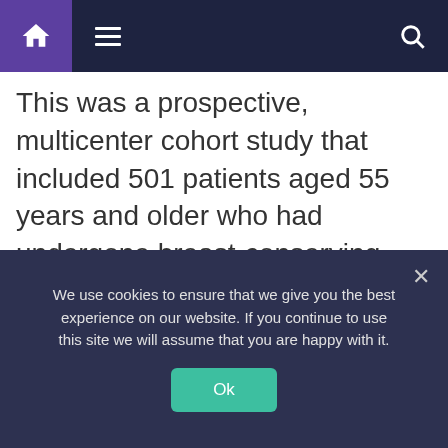Navigation bar with home, menu, and search icons
This was a prospective, multicenter cohort study that included 501 patients aged 55 years and older who had undergone breast-conserving surgery for grade 1-2 T1N0 cancer.
The median patient age was 67, with 442 (88%) older than 75 years. The median
We use cookies to ensure that we give you the best experience on our website. If you continue to use this site we will assume that you are happy with it.